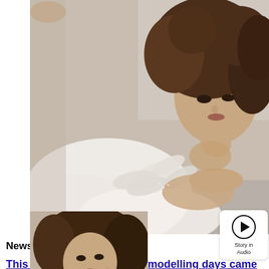[Figure (photo): Woman with brown wavy hair wearing a white feathery/tulle dress, lying down, resting chin on hand, glamour/fashion photo shoot]
[Figure (photo): Smaller thumbnail of the same woman in the same white feathery outfit, lying pose, same photo shoot]
[Figure (infographic): Story in Audio badge — circular play button icon with text 'Story in Audio' below]
News
This is how Yami Gautam’s modelling days came in handy for her role in her upcoming flick, Bala!